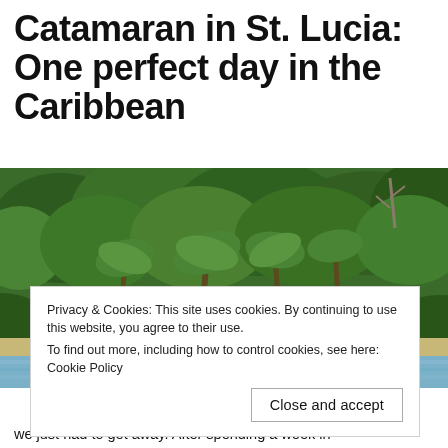Catamaran in St. Lucia: One perfect day in the Caribbean
[Figure (photo): Tropical jungle shoreline with dense green trees including palm trees and a sandy beach with blue water in the foreground, viewed from the water]
Privacy & Cookies: This site uses cookies. By continuing to use this website, you agree to their use.
To find out more, including how to control cookies, see here: Cookie Policy
Close and accept
we just had to get away. After spending a week in